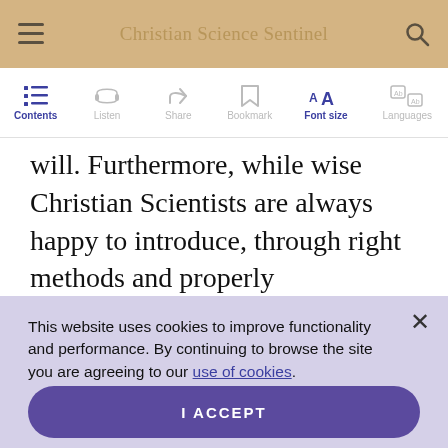Christian Science Sentinel
will. Furthermore, while wise Christian Scientists are always happy to introduce, through right methods and properly
This website uses cookies to improve functionality and performance. By continuing to browse the site you are agreeing to our use of cookies.
I ACCEPT